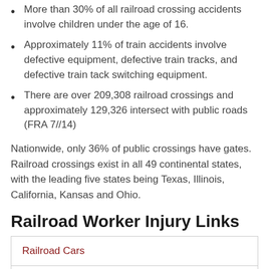More than 30% of all railroad crossing accidents involve children under the age of 16.
Approximately 11% of train accidents involve defective equipment, defective train tracks, and defective train tack switching equipment.
There are over 209,308 railroad crossings and approximately 129,326 intersect with public roads (FRA 7//14)
Nationwide, only 36% of public crossings have gates. Railroad crossings exist in all 49 continental states, with the leading five states being Texas, Illinois, California, Kansas and Ohio.
Railroad Worker Injury Links
| Railroad Cars |
| Railroad Police Officer Injury Types |
| Railroad Products |